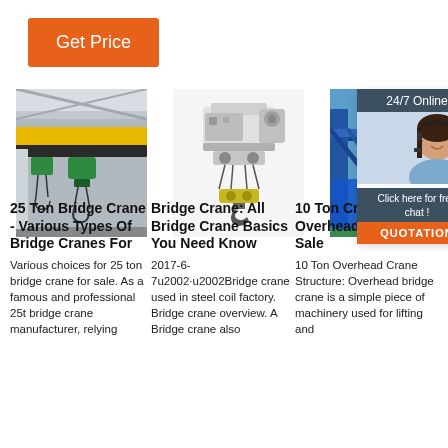Get Price
[Figure (photo): Photo of a yellow overhead bridge crane in an industrial facility]
[Figure (photo): Photo of a bridge crane hoist unit with hook on white background]
[Figure (photo): Photo of a blue overhead crane structure outdoors; overlay with customer service representative and chat/quotation buttons]
25 Ton Bridge Crane - Various Types Of Bridge Cranes For
Bridge Crane: All Bridge Crane Basics You Need Know
10 Ton Crane Overhead Cranes For Sale
Various choices for 25 ton bridge crane for sale. As a famous and professional 25t bridge crane manufacturer, relying
2017-6-7u2002·u2002Bridge crane used in steel coil factory. Bridge crane overview. A Bridge crane also
10 Ton Overhead Crane Structure: Overhead bridge crane is a simple piece of machinery used for lifting and